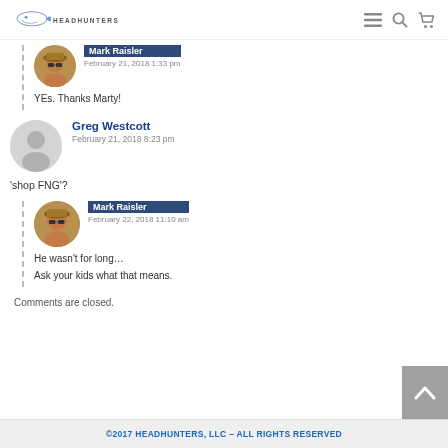HEADHUNTERS (logo with navigation icons)
Mark Raisler
February 21, 2018 1:33 pm
YEs. Thanks Marty!
Greg Westcott
February 21, 2018 8:23 pm
'shop FNG'?
Mark Raisler
February 22, 2018 11:10 am
He wasn't for long…
Ask your kids what that means.
Comments are closed.
©2017 HEADHUNTERS, LLC – ALL RIGHTS RESERVED